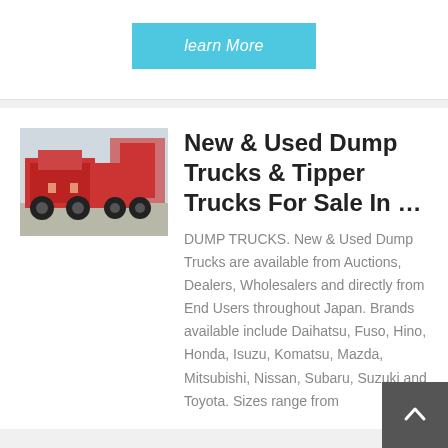[Figure (other): A cyan/light blue 'learn More' button with italic text on white background]
[Figure (photo): Photo of red dump trucks / tipper trucks parked in a yard, seen from the rear]
New & Used Dump Trucks & Tipper Trucks For Sale In …
DUMP TRUCKS. New & Used Dump Trucks are available from Auctions, Dealers, Wholesalers and directly from End Users throughout Japan. Brands available include Daihatsu, Fuso, Hino, Honda, Isuzu, Komatsu, Mazda, Mitsubishi, Nissan, Subaru, Suzuki and Toyota. Sizes range from